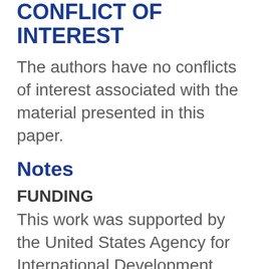CONFLICT OF INTEREST
The authors have no conflicts of interest associated with the material presented in this paper.
Notes
FUNDING
This work was supported by the United States Agency for International Development